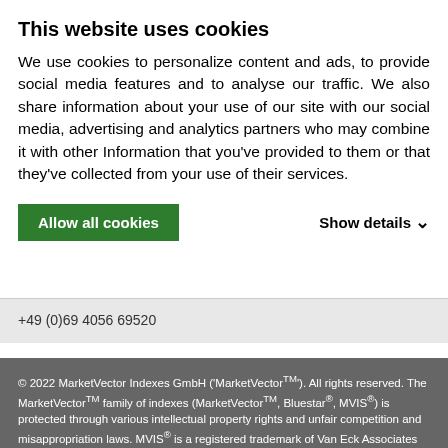This website uses cookies
We use cookies to personalize content and ads, to provide social media features and to analyse our traffic. We also share information about your use of our site with our social media, advertising and analytics partners who may combine it with other Information that you've provided to them or that they've collected from your use of their services.
Allow all cookies | Show details
+49 (0)69 4056 69520
© 2022 MarketVector Indexes GmbH ('MarketVectorTM'). All rights reserved. The MarketVectorTM family of indexes (MarketVectorTM, Bluestar®, MVIS®) is protected through various intellectual property rights and unfair competition and misappropriation laws. MVIS® is a registered trademark of Van Eck Associates Corporation that has been licensed to MarketVector Indexes GmbH. MarketVectorTM and MarketVector IndexesTM are pending trademarks of Van Eck